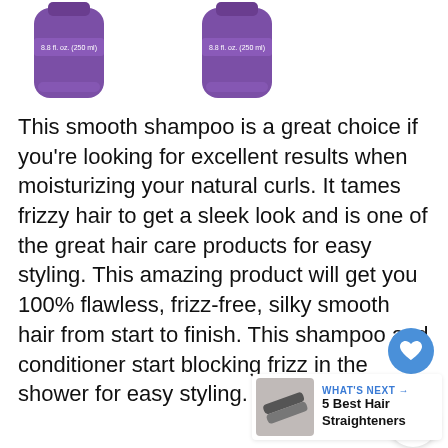[Figure (photo): Two purple hair product bottles (shampoo/conditioner) labeled 8.8 fl oz (250ml) shown at top of page, partially cropped]
This smooth shampoo is a great choice if you're looking for excellent results when moisturizing your natural curls. It tames frizzy hair to get a sleek look and is one of the great hair care products for easy styling. This amazing product will get you 100% flawless, frizz-free, silky smooth hair from start to finish. This shampoo and conditioner start blocking frizz in the shower for easy styling.
[Figure (illustration): Heart/like button (blue circle with white heart icon) and share button (white circle with share icon), with count of 7]
[Figure (photo): What's Next thumbnail showing hair straighteners]
WHAT'S NEXT → 5 Best Hair Straighteners